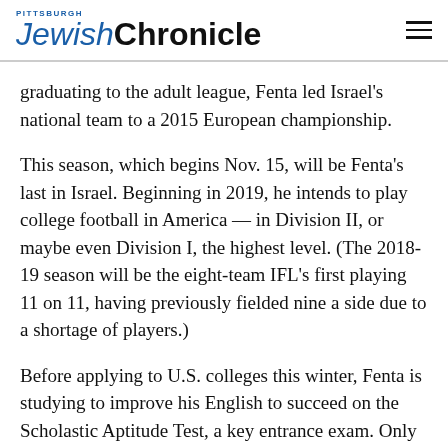Pittsburgh Jewish Chronicle
graduating to the adult league, Fenta led Israel's national team to a 2015 European championship.
This season, which begins Nov. 15, will be Fenta's last in Israel. Beginning in 2019, he intends to play college football in America — in Division II, or maybe even Division I, the highest level. (The 2018-19 season will be the eight-team IFL's first playing 11 on 11, having previously fielded nine a side due to a shortage of players.)
Before applying to U.S. colleges this winter, Fenta is studying to improve his English to succeed on the Scholastic Aptitude Test, a key entrance exam. Only in high school, he said, did he understand that good